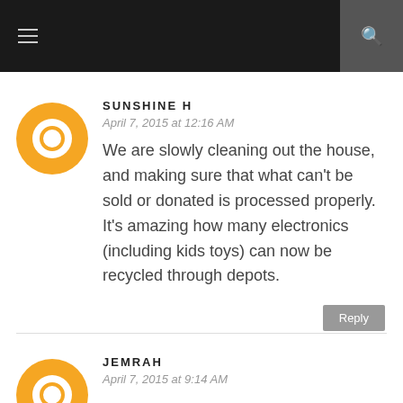SUNSHINE H
April 7, 2015 at 12:16 AM
We are slowly cleaning out the house, and making sure that what can't be sold or donated is processed properly. It's amazing how many electronics (including kids toys) can now be recycled through depots.
JEMRAH
April 7, 2015 at 9:14 AM